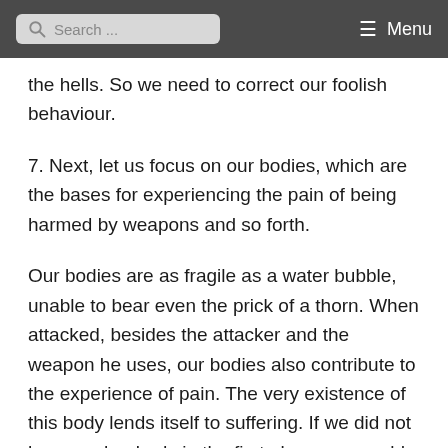Search ... Menu
the hells. So we need to correct our foolish behaviour.
7. Next, let us focus on our bodies, which are the bases for experiencing the pain of being harmed by weapons and so forth.
Our bodies are as fragile as a water bubble, unable to bear even the prick of a thorn. When attacked, besides the attacker and the weapon he uses, our bodies also contribute to the experience of pain. The very existence of this body lends itself to suffering. If we did not have such a body in the first place, we would not be harmed when attacked. Therefore,